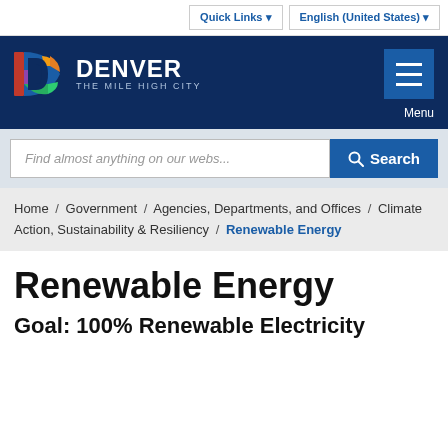Quick Links ▾   English (United States) ▾
[Figure (logo): Denver The Mile High City official city logo with colorful D icon on dark navy background header]
Find almost anything on our webs...
Home / Government / Agencies, Departments, and Offices / Climate Action, Sustainability & Resiliency / Renewable Energy
Renewable Energy
Goal: 100% Renewable Electricity